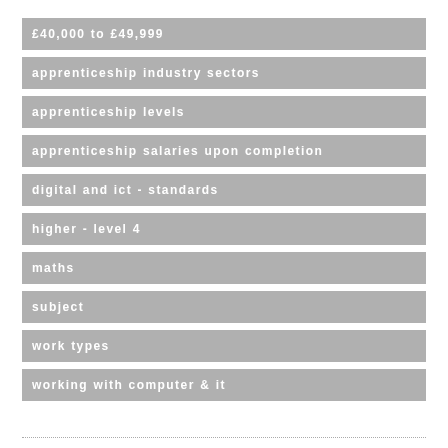£40,000 to £49,999
apprenticeship industry sectors
apprenticeship levels
apprenticeship salaries upon completion
digital and ict - standards
higher - level 4
maths
subject
work types
working with computer & it